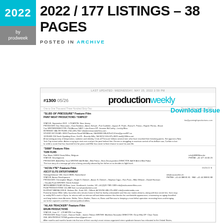2022 / 177 LISTINGS – 38 PAGES
POSTED IN ARCHIVE
[Figure (screenshot): Production Weekly newsletter issue #1300 05/26 showing multiple film/TV production listings including 'Slbs Of Pressure', '3000', 'Acolyte', 'Alan Tracker']
Download Issue